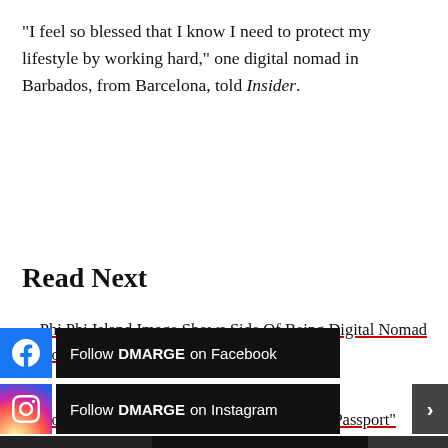“I feel so blessed that I know I need to protect my lifestyle by working hard,” one digital nomad in Barbados, from Barcelona, told Insider.
Read Next
Phi Phi Island Image Shows Side Of Being Digital Nomad No One Tells You About
How To Travel The World Using Bumble’s “Passport” Feature
[Figure (other): Social media follow buttons: Facebook and Instagram follow buttons for DMARGE, plus an advertisement banner for Volalto Rentals with Book Online CTA]